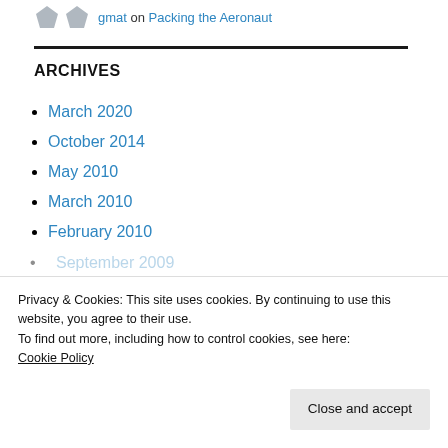gmat on Packing the Aeronaut
ARCHIVES
March 2020
October 2014
May 2010
March 2010
February 2010
September 2009
Privacy & Cookies: This site uses cookies. By continuing to use this website, you agree to their use.
To find out more, including how to control cookies, see here:
Cookie Policy
Close and accept